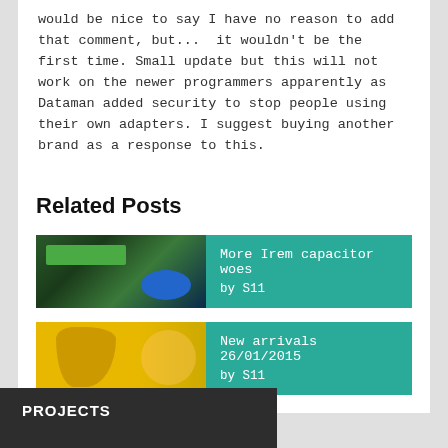would be nice to say I have no reason to add that comment, but...  it wouldn't be the first time. Small update but this will not work on the newer programmers apparently as Dataman added security to stop people using their own adapters. I suggest buying another brand as a response to this.
Related Posts
[Figure (photo): Thumbnail image of a circuit board with green and blue components]
More Irem capacitor woes
by S11
[Figure (photo): Thumbnail image of a yellow guitar and a woman with long hair]
New arrivals 26/01/2015
by S11
PROJECTS